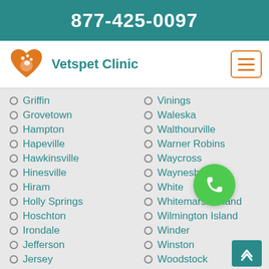877-425-0097
[Figure (logo): Vetspet Clinic logo with orange heart and pet silhouette, teal text reading Vetspet Clinic]
Griffin
Grovetown
Hampton
Hapeville
Hawkinsville
Hinesville
Hiram
Holly Springs
Hoschton
Irondale
Jefferson
Jersey
Vinings
Waleska
Walthourville
Warner Robins
Waycross
Waynesboro
White
Whitemarsh Island
Wilmington Island
Winder
Winston
Woodstock